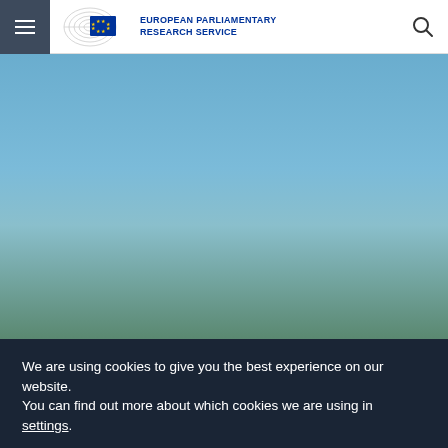European Parliamentary Research Service
[Figure (photo): NATO headquarters sculpture/logo monument with member country flags in the background under a blue sky]
We are using cookies to give you the best experience on our website.
You can find out more about which cookies we are using in settings.